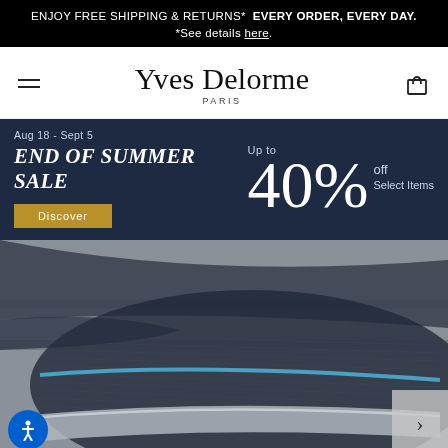ENJOY FREE SHIPPING & RETURNS* EVERY ORDER, EVERY DAY. *See details here.
[Figure (logo): Yves Delorme Paris brand logo with hamburger menu and cart icon]
[Figure (infographic): End of Summer Sale banner: Aug 18 - Sept 5, Up to 40% off Select Items, with Discover button]
[Figure (photo): Close-up photo of folded dark blue/grey ribbed textile with light blue stripe accent, likely towels or bedding]